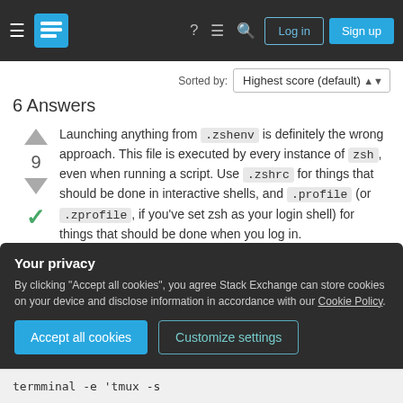Stack Exchange header with logo, login, and sign up buttons
Sorted by:
6 Answers
Launching anything from .zshenv is definitely the wrong approach. This file is executed by every instance of zsh, even when running a script. Use .zshrc for things that should be done in interactive shells, and .profile (or .zprofile, if you've set zsh as your login shell) for things that should be done when you log in.
Your privacy
By clicking "Accept all cookies", you agree Stack Exchange can store cookies on your device and disclose information in accordance with our Cookie Policy.
termminal -e 'tmux -s